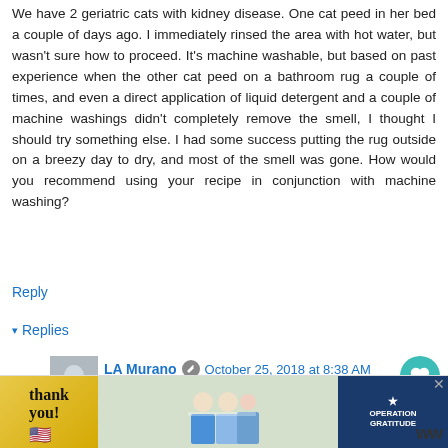We have 2 geriatric cats with kidney disease. One cat peed in her bed a couple of days ago. I immediately rinsed the area with hot water, but wasn't sure how to proceed. It's machine washable, but based on past experience when the other cat peed on a bathroom rug a couple of times, and even a direct application of liquid detergent and a couple of machine washings didn't completely remove the smell, I thought I should try something else. I had some success putting the rug outside on a breezy day to dry, and most of the smell was gone. How would you recommend using your recipe in conjunction with machine washing?
Reply
▾ Replies
LA Murano  October 25, 2018 at 8:38 AM
I would completely saturate the cat urine spot with the peroxide, baking soda, dish soap solution. Let it air dry...it will probably take a whole day. Once dry, you can rewash the cat bed and it
[Figure (photo): Advertisement banner: Thank you with American flag design on left, people with masks in center, Operation Gratitude logo on right]